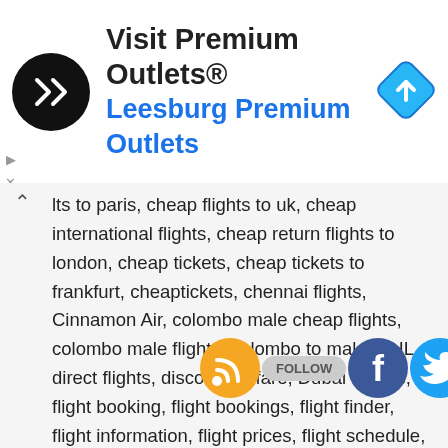[Figure (advertisement): Ad banner: Visit Premium Outlets® Leesburg Premium Outlets with logo and navigation arrow icon]
lts to paris, cheap flights to uk, cheap international flights, cheap return flights to london, cheap tickets, cheap tickets to frankfurt, cheaptickets, chennai flights, Cinnamon Air, colombo male cheap flights, colombo male flights, colombo to male, DHL, direct flights, discount airfare, Dubai Flights, flight booking, flight bookings, flight finder, flight information, flight prices, flight schedule, flight search, flight ticket price, flight tickets, flight to frankfurt, flight to london, flights, flights from frankfurt to london, flights from frankfurt to paris, flights from london, flights from london to paris, flights from paris to rome, flights to bangkok, flights to barcelona, flights to hong kong, flights to london england, flights to usa from london, fly to london, hotel maldives, hotels in maldives, Hyderabad, india flights, indonesia flight, international air ticket booking, kanuhura maldives, Korean Air, kurumba maldives, last minute flights, list of airlines, london flight tickets, low airfare, lowest air ticket, malaysian flight, maldive, maldives, maldives airport, maldives beach, maldives holidays, maldives honeymoon, maldives dive, maldives map, maldives packages, maldives resorts, maldives ticket price from sri lanka, maldives tour, maldives tourism